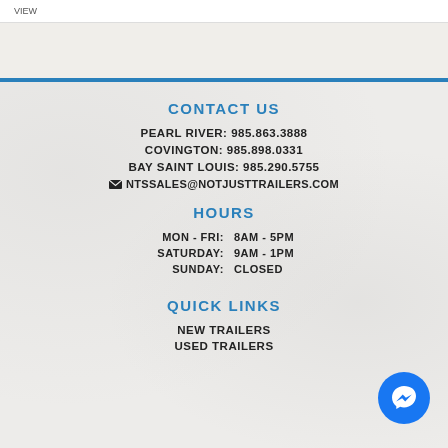VIEW
CONTACT US
PEARL RIVER: 985.863.3888
COVINGTON: 985.898.0331
BAY SAINT LOUIS: 985.290.5755
NTSSALES@NOTJUSTTRAILERS.COM
HOURS
MON - FRI:   8AM - 5PM
SATURDAY:   9AM - 1PM
SUNDAY:   CLOSED
QUICK LINKS
NEW TRAILERS
USED TRAILERS